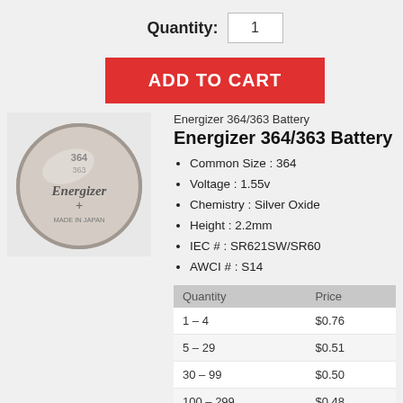Quantity: 1
ADD TO CART
[Figure (photo): Energizer 364/363 silver oxide battery coin cell, circular, showing Energizer branding and 'MADE IN JAPAN' text]
Energizer 364/363 Battery
Energizer 364/363 Battery
Common Size : 364
Voltage : 1.55v
Chemistry : Silver Oxide
Height : 2.2mm
IEC # : SR621SW/SR60
AWCI # : S14
| Quantity | Price |
| --- | --- |
| 1 – 4 | $0.76 |
| 5 – 29 | $0.51 |
| 30 – 99 | $0.50 |
| 100 – 299 | $0.48 |
| 300 + | $0.45 |